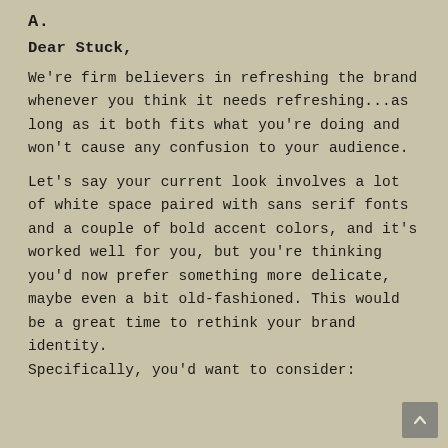A.
Dear Stuck,
We're firm believers in refreshing the brand whenever you think it needs refreshing...as long as it both fits what you're doing and won't cause any confusion to your audience.
Let's say your current look involves a lot of white space paired with sans serif fonts and a couple of bold accent colors, and it's worked well for you, but you're thinking you'd now prefer something more delicate, maybe even a bit old-fashioned. This would be a great time to rethink your brand identity.
Specifically, you'd want to consider: